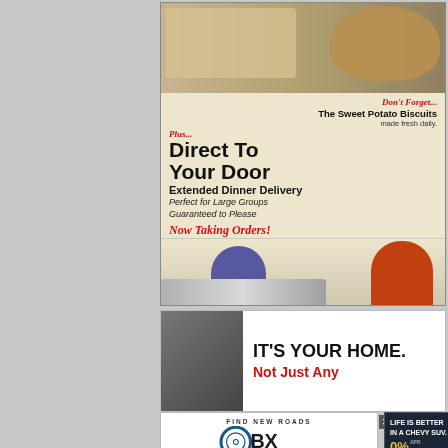[Figure (illustration): Kelly's Outer Banks Catering advertisement. Features food photos (brisket, sweet potato biscuits), two staff members (woman in purple uniform, man in orange shirt) with catering pans. Text: 'Don't Forget... The Sweet Potato Biscuits made fresh daily. Plus... Direct To Your Door Extended Dinner Delivery Perfect for Large Groups Guaranteed to Please Now Taking Orders!' Logo: Kelly's Outer Banks Catering Since 1985. Call 252-441-4116 or go to: kellysobxcatering.com. KELLY'S KITCHEN CENTER IS LOCATED AT 1004 9TH AVENUE • KILL DEVIL HILLS]
[Figure (illustration): Real estate advertisement with person in baseball cap. Text: IT'S YOUR HOME. Not Just Any...]
[Figure (logo): OBX Chevrolet Buick dealership ad. FIND NEW ROADS. OBX logo with stylized 'O' ring. CHEVROLET BUICK. LEARN MORE]
[Figure (illustration): Chevrolet SUV advertisement. LIFE IS BETTER IN A CHEVY SUV. 0% APR. $1,250 cash. SPORT UTILITY label. Image of dark Chevy SUV on road.]